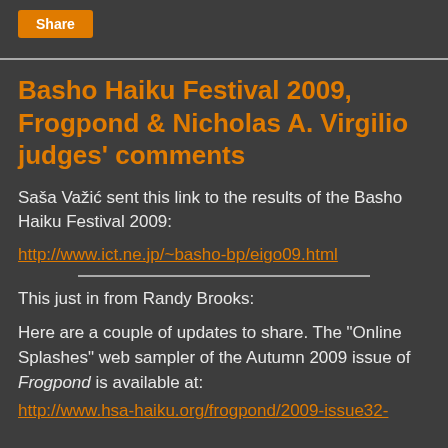[Figure (other): Share button (orange rectangle with white text 'Share') at top of page]
Basho Haiku Festival 2009, Frogpond & Nicholas A. Virgilio judges' comments
Saša Važić sent this link to the results of the Basho Haiku Festival 2009:
http://www.ict.ne.jp/~basho-bp/eigo09.html
This just in from Randy Brooks:
Here are a couple of updates to share. The "Online Splashes" web sampler of the Autumn 2009 issue of Frogpond is available at: http://www.hsa-haiku.org/frogpond/2009-issue32-